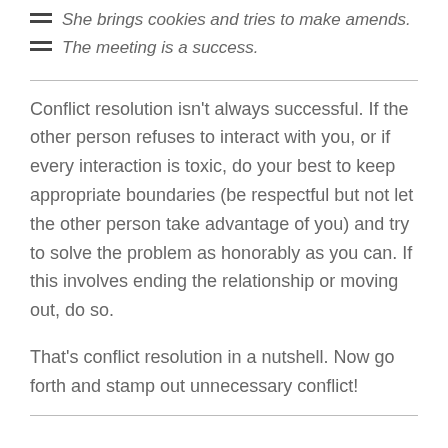She brings cookies and tries to make amends.
The meeting is a success.
Conflict resolution isn’t always successful.  If the other person refuses to interact with you, or if every interaction is toxic, do your best to keep appropriate boundaries (be respectful but not let the other person take advantage of you) and try to solve the problem as honorably as you can.  If this involves ending the relationship or moving out, do so.
That’s conflict resolution in a nutshell.  Now go forth and stamp out unnecessary conflict!